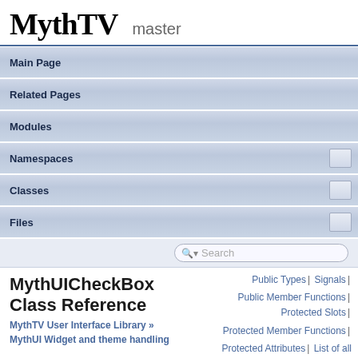MythTV master
Main Page
Related Pages
Modules
Namespaces
Classes
Files
MythUICheckBox Class Reference
MythTV User Interface Library »
MythUI Widget and theme handling
Public Types | Signals | Public Member Functions | Protected Slots | Protected Member Functions | Protected Attributes | List of all members